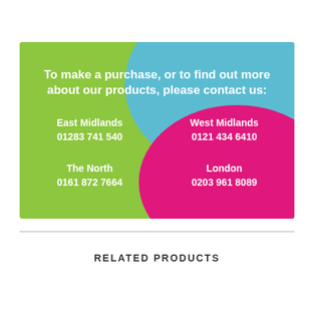[Figure (infographic): Coloured contact information panel with green, blue, and pink blob shapes. Contains heading 'To make a purchase, or to find out more about our products, please contact us:' and four regional contact entries: East Midlands 01283 741 540, West Midlands 0121 434 6410, The North 0161 872 7664, London 0203 961 8089.]
RELATED PRODUCTS